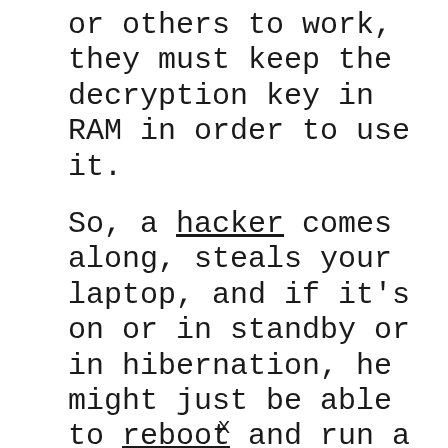or others to work, they must keep the decryption key in RAM in order to use it.
So, a hacker comes along, steals your laptop, and if it's on or in standby or in hibernation, he might just be able to reboot and run a tool that reads what's left in your RAM and locate those keys and then be able to decrypt your information. It's even been shown
x